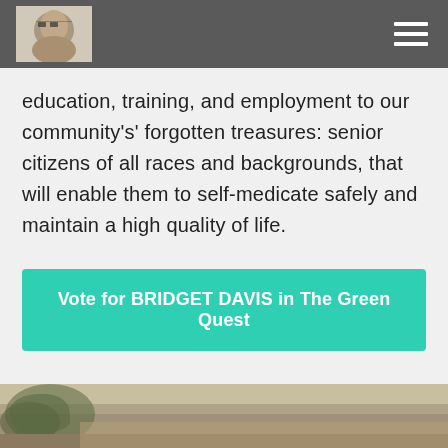[Figure (photo): Black and white portrait photo of a woman with glasses, shown in the header navigation bar]
education, training, and employment to our community's' forgotten treasures: senior citizens of all races and backgrounds, that will enable them to self-medicate safely and maintain a high quality of life.
Vote for BRIDGET DAVIS in The Green Quest
[Figure (photo): Sepia-toned landscape photo showing a hillside or coastal scene with trees]